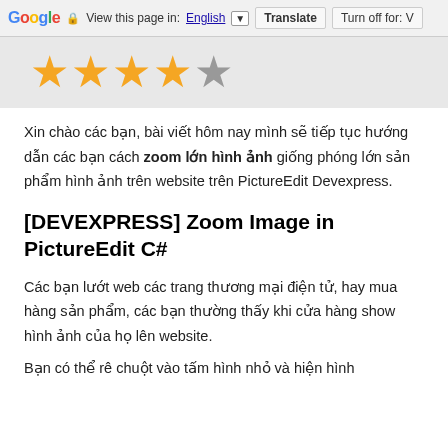Google | View this page in: English | Translate | Turn off for: V
[Figure (other): 4 filled gold stars and 1 empty grey star rating widget on a light grey background]
Xin chào các bạn, bài viết hôm nay mình sẽ tiếp tục hướng dẫn các bạn cách zoom lớn hình ảnh giống phóng lớn sản phẩm hình ảnh trên website trên PictureEdit Devexpress.
[DEVEXPRESS] Zoom Image in PictureEdit C#
Các bạn lướt web các trang thương mại điện tử, hay mua hàng sản phẩm, các bạn thường thấy khi cửa hàng show hình ảnh của họ lên website.
Bạn có thể rê chuột vào tấm hình nhỏ và hiện hình